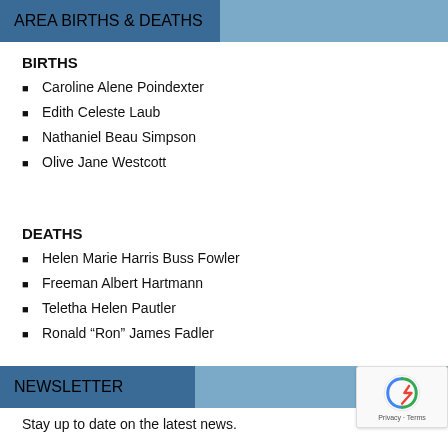AREA BIRTHS & DEATHS
BIRTHS
Caroline Alene Poindexter
Edith Celeste Laub
Nathaniel Beau Simpson
Olive Jane Westcott
DEATHS
Helen Marie Harris Buss Fowler
Freeman Albert Hartmann
Teletha Helen Pautler
Ronald “Ron” James Fadler
NEWSLETTER
Stay up to date on the latest news.